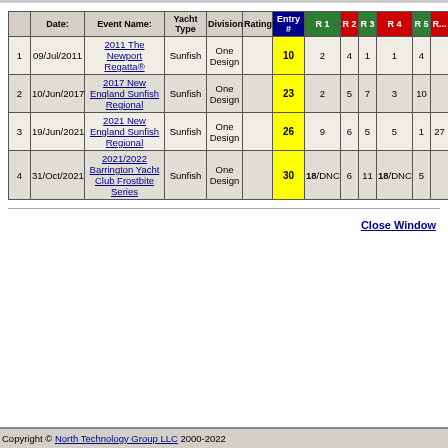|  | Date: | Event Name: | Yacht Type | Division | Rating | Entry # | R 1 | R 2 | R 3 | R 4 | R 5 | R... |
| --- | --- | --- | --- | --- | --- | --- | --- | --- | --- | --- | --- | --- |
| 1 | 09/Jul/2011 | 2011 The Newport Regatta® | Sunfish | One Design |  | 10 | 2 | 4 | 1 | 1 | 4 |  |
| 2 | 10/Jun/2017 | 2017 New England Sunfish Regional | Sunfish | One Design |  | 23 | 2 | 5 | 7 | 3 | 10 |  |
| 3 | 19/Jun/2021 | 2021 New England Sunfish Regional | Sunfish | One Design |  | 26 | 9 | 6 | 5 | 5 | 1 | 27 |
| 4 | 31/Oct/2021 | 2021/2022 Barrington Yacht Club Frostbite Series | Sunfish | One Design |  | 30 | 18/DNC | 6 | 11 | 18/DNC | 5 |  |
Close Window
Copyright © North Technology Group LLC 2000-2022